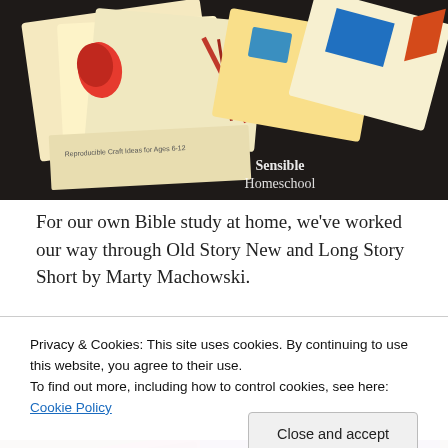[Figure (photo): Photo of craft book pages with colorful illustrated cards spread out. Text on book reads 'Reproducible Craft Ideas for Ages 6-12'. Watermark in lower right reads 'Sensible Homeschool'.]
For our own Bible study at home, we've worked our way through Old Story New and Long Story Short by Marty Machowski.
[Figure (photo): Photo of two books lying on a textured brown surface. One book is pink/red titled 'Old Story New' and the other is orange/purple titled 'Long Story Short: Ten-Minute Devotions to Draw Your Family to God'.]
Privacy & Cookies: This site uses cookies. By continuing to use this website, you agree to their use.
To find out more, including how to control cookies, see here: Cookie Policy